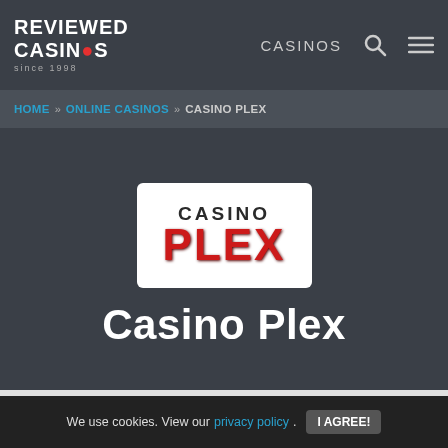REVIEWED CASINOS since 1998 | CASINOS
HOME » ONLINE CASINOS » CASINO PLEX
[Figure (logo): Casino Plex logo: white rounded rectangle with 'CASINO' in dark text and 'PLEX' in large red bold text]
Casino Plex
CLOSED
Cas
We use cookies. View our privacy policy.
I AGREE!